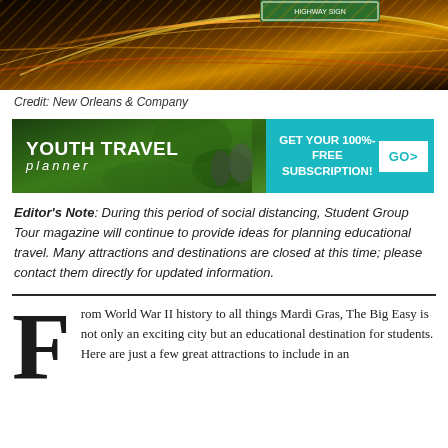[Figure (photo): Aerial night photo of highway interchange with light trails]
Credit: New Orleans & Company
[Figure (infographic): Youth Travel Planner advertisement banner with green nature background on left and teal 'Get your 100%-free subscription! GO>' on right]
Editor's Note: During this period of social distancing, Student Group Tour magazine will continue to provide ideas for planning educational travel. Many attractions and destinations are closed at this time; please contact them directly for updated information.
From World War II history to all things Mardi Gras, The Big Easy is not only an exciting city but an educational destination for students. Here are just a few great attractions to include in an